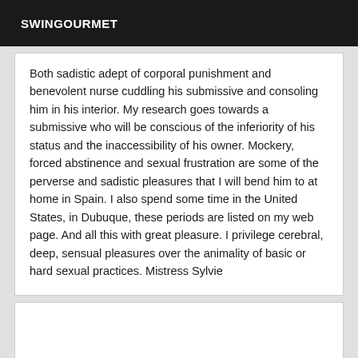SWINGOURMET
Both sadistic adept of corporal punishment and benevolent nurse cuddling his submissive and consoling him in his interior. My research goes towards a submissive who will be conscious of the inferiority of his status and the inaccessibility of his owner. Mockery, forced abstinence and sexual frustration are some of the perverse and sadistic pleasures that I will bend him to at home in Spain. I also spend some time in the United States, in Dubuque, these periods are listed on my web page. And all this with great pleasure. I privilege cerebral, deep, sensual pleasures over the animality of basic or hard sexual practices. Mistress Sylvie